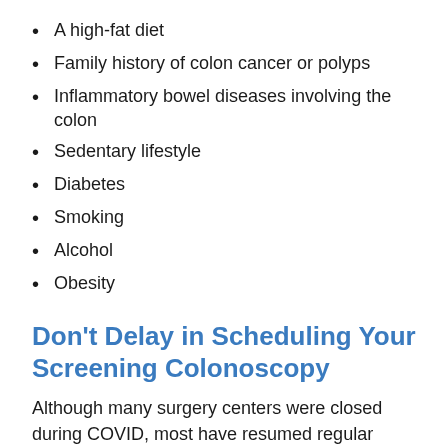A high-fat diet
Family history of colon cancer or polyps
Inflammatory bowel diseases involving the colon
Sedentary lifestyle
Diabetes
Smoking
Alcohol
Obesity
Don't Delay in Scheduling Your Screening Colonoscopy
Although many surgery centers were closed during COVID, most have resumed regular hours. Surgery centers must follow rigorous safety standards and protocols. You can feel confident that your center will take the